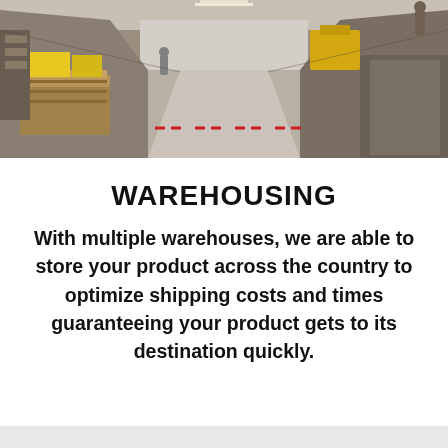[Figure (photo): Warehouse interior showing pallets, shelving, and a long aisle with goods stored on either side. Yellow warehouse equipment and materials visible.]
WAREHOUSING
With multiple warehouses, we are able to store your product across the country to optimize shipping costs and times guaranteeing your product gets to its destination quickly.